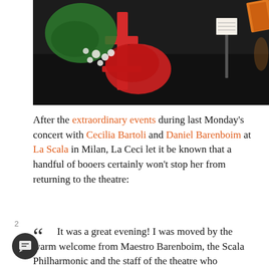[Figure (photo): Overhead view of a concert stage with a green fabric/floral arrangement, red chairs, white flowers, and a music stand with sheet music on a dark stage.]
After the extraordinary events during last Monday's concert with Cecilia Bartoli and Daniel Barenboim at La Scala in Milan, La Ceci let it be known that a handful of booers certainly won't stop her from returning to the theatre:
“ It was a great evening! I was moved by the warm welcome from Maestro Barenboim, the Scala Philharmonic and the staff of the theatre who immediately made me feel at home. The theatre was overflowing with excitement, and was sold out instantly: a wonderful atmosphere